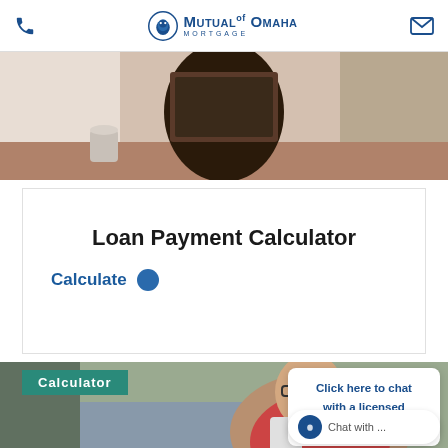Mutual of Omaha Mortgage
[Figure (photo): Person sitting at a table working on a laptop, with a coffee mug and plant in background]
Loan Payment Calculator
Calculate
[Figure (photo): Man with glasses smiling and looking at his phone, sitting on a couch]
Calculator
Click here to chat with a licensed loan officer!
Chat with ...